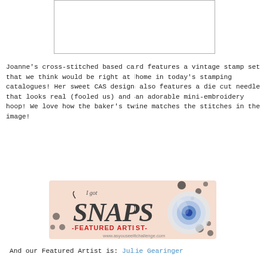[Figure (photo): A white card with border, partially visible at top of page — Joanne's cross-stitched card image placeholder]
Joanne's cross-stitched based card features a vintage stamp set that we think would be right at home in today's stamping catalogues! Her sweet CAS design also features a die cut needle that looks real (fooled us) and an adorable mini-embroidery hoop! We love how the baker's twine matches the stitches in the image!
[Figure (logo): I got SNAPS - FEATURED ARTIST badge from www.asyouseeitchallenge.com, with decorative script text and camera lens graphic on a pink/cream background with ink splatter dots]
And our Featured Artist is: Julie Gearinger